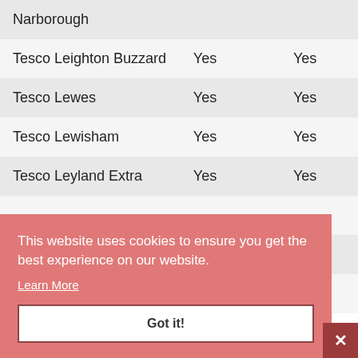| Location | Col1 | Col2 | Col3 |
| --- | --- | --- | --- |
| Narborough |  |  |  |
| Tesco Leighton Buzzard | Yes | Yes | Ye... |
| Tesco Lewes | Yes | Yes | Ye... |
| Tesco Lewisham | Yes | Yes | Ye... |
| Tesco Leyland Extra | Yes | Yes | Ye... |
| ... |  |  | Ye... |
| ... |  |  | Ye... |
| ... |  |  | ...est |
This website uses cookies to ensure you get the best experience on our website.
Learn More
Got it!